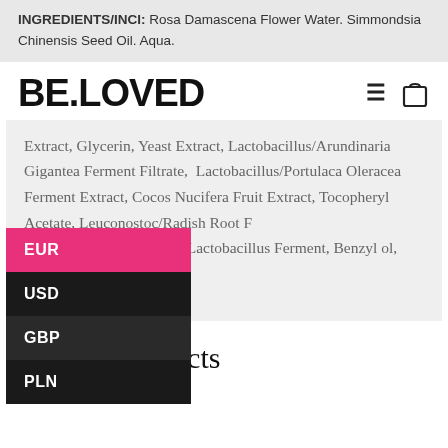INGREDIENTS/INCI: Rosa Damascena Flower Water. Simmondsia Chinensis Seed Oil. Aqua.
BE.LOVED
Extract, Glycerin, Yeast Extract, Lactobacillus/Arundinaria Gigantea Ferment Filtrate, Lactobacillus/Portulaca Oleracea Ferment Extract, Cocos Nucifera Fruit Extract, Tocopheryl Acetate, Leuconostoc/Radish Root Ferment Filtrate, Lactobacillus Ferment, Benzyl ol, Dehydroacetic acid
EUR
USD
GBP
PLN
Related products